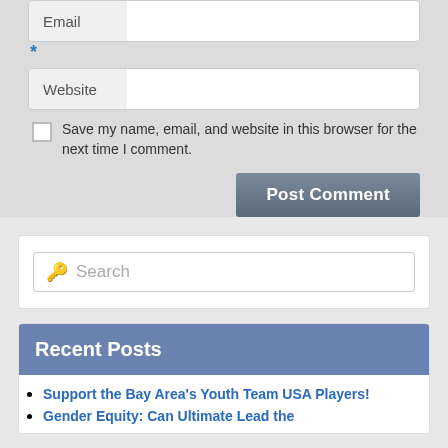Email *
Website
Save my name, email, and website in this browser for the next time I comment.
Post Comment
🔑 Search
Recent Posts
Support the Bay Area's Youth Team USA Players!
Gender Equity: Can Ultimate Lead the